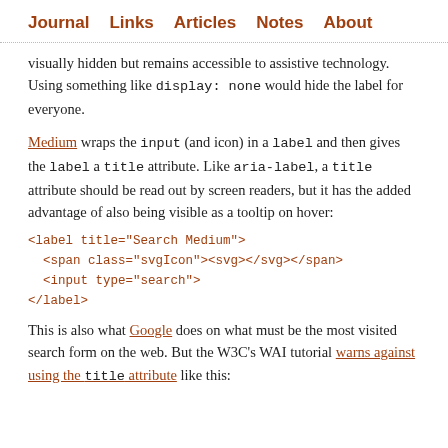Journal  Links  Articles  Notes  About
visually hidden but remains accessible to assistive technology. Using something like display: none would hide the label for everyone.
Medium wraps the input (and icon) in a label and then gives the label a title attribute. Like aria-label, a title attribute should be read out by screen readers, but it has the added advantage of also being visible as a tooltip on hover:
This is also what Google does on what must be the most visited search form on the web. But the W3C's WAI tutorial warns against using the title attribute like this: